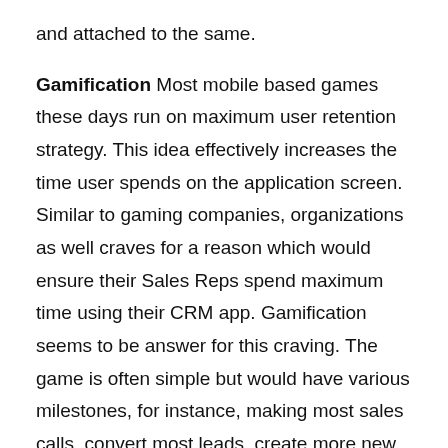and attached to the same.
Gamification Most mobile based games these days run on maximum user retention strategy. This idea effectively increases the time user spends on the application screen. Similar to gaming companies, organizations as well craves for a reason which would ensure their Sales Reps spend maximum time using their CRM app. Gamification seems to be answer for this craving. The game is often simple but would have various milestones, for instance, making most sales calls, convert most leads, create more new accounts and many more. Each defined to have set points that the individual would earn.